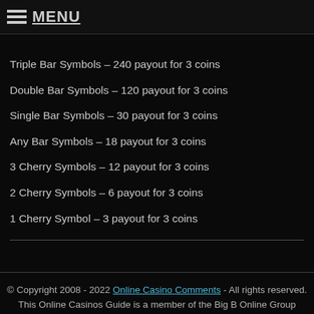≡ MENU
Triple Bar Symbols – 240 payout for 3 coins
Double Bar Symbols – 120 payout for 3 coins
Single Bar Symbols – 30 payout for 3 coins
Any Bar Symbols – 18 payout for 3 coins
3 Cherry Symbols – 12 payout for 3 coins
2 Cherry Symbols – 6 payout for 3 coins
1 Cherry Symbol – 3 payout for 3 coins
© Copyright 2008 - 2022 Online Casino Comments - All rights reserved. This Online Casinos Guide is a member of the Big B Online Group